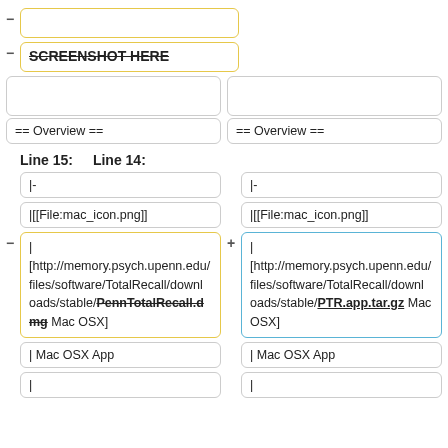[Figure (screenshot): Diff view of wiki/document editor showing two columns (left: old, right: new) with highlighted changes. Top section shows a yellow-bordered empty box with minus marker, then a yellow-bordered box with strikethrough text 'SCREENSHOT HERE' and minus marker. Below are side-by-side overview boxes. Then Line 15 (left) and Line 14 (right) headers, each with code boxes showing wiki markup. The changed line shows 'PennTotalRecall.dmg' on left (yellow, minus) and 'PTR.app.tar.gz' on right (blue, plus). Both sides show '| Mac OSX App' boxes at bottom.]